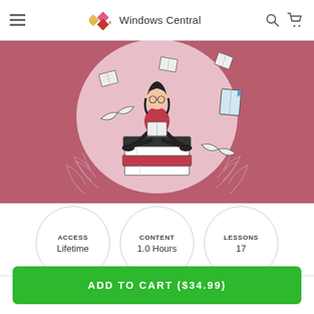Windows Central
[Figure (illustration): Illustration of a woman sitting cross-legged on a stack of books, surrounded by floating open books, on a rose/mauve background with decorative leaves]
ACCESS
Lifetime
CONTENT
1.0 Hours
LESSONS
17
ADD TO CART ($34.99)